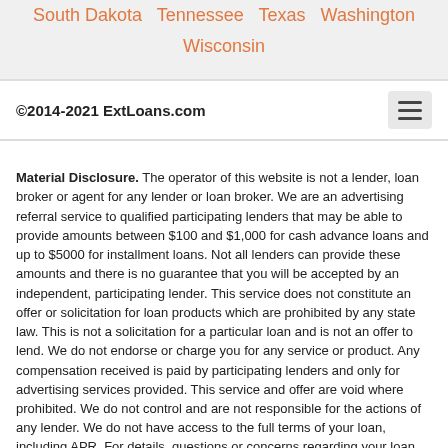South Dakota  Tennessee  Texas  Washington
Wisconsin
©2014-2021 ExtLoans.com
Material Disclosure. The operator of this website is not a lender, loan broker or agent for any lender or loan broker. We are an advertising referral service to qualified participating lenders that may be able to provide amounts between $100 and $1,000 for cash advance loans and up to $5000 for installment loans. Not all lenders can provide these amounts and there is no guarantee that you will be accepted by an independent, participating lender. This service does not constitute an offer or solicitation for loan products which are prohibited by any state law. This is not a solicitation for a particular loan and is not an offer to lend. We do not endorse or charge you for any service or product. Any compensation received is paid by participating lenders and only for advertising services provided. This service and offer are void where prohibited. We do not control and are not responsible for the actions of any lender. We do not have access to the full terms of your loan, including APR. For details, questions or concerns regarding your loan please contact your lender directly. Only your lender can provide you with information about your specific loan terms, their